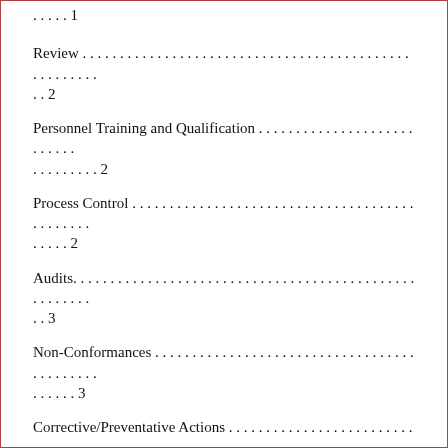…..1
Review…………………………………………………………..2
Personnel Training and Qualification…………………………………….2
Process Control…………………………………………………………..2
Audits……………………………………………………………………..3
Non-Conformances…………………………………………………………3
Corrective/Preventative Actions………………………………………….3